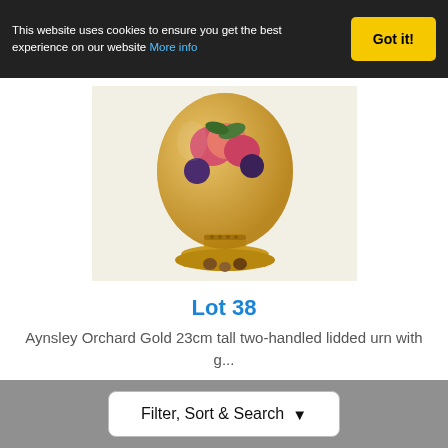This website uses cookies to ensure you get the best experience on our website More info
Got it!
[Figure (photo): Aynsley Orchard Gold decorative pedestal urn vase with painted fruit motifs including plums and peaches on a golden yellow ground, photographed against a white background]
Lot 38
Aynsley Orchard Gold 23cm tall two-handled lidded urn with g...
Hammer £22
Fees ?
Filter, Sort & Search